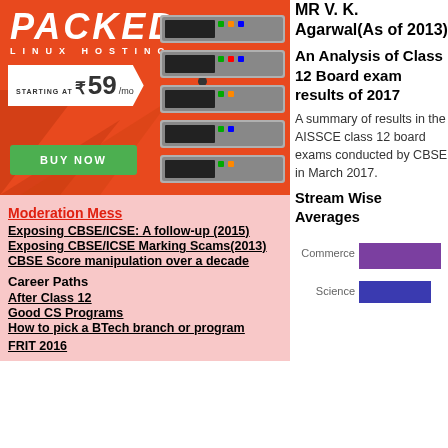[Figure (photo): Advertisement banner for Linux Hosting starting at ₹59/mo with BUY NOW button and server image]
Moderation Mess
Exposing CBSE/ICSE: A follow-up (2015)
Exposing CBSE/ICSE Marking Scams(2013)
CBSE Score manipulation over a decade
Career Paths
After Class 12
Good CS Programs
How to pick a BTech branch or program
MR V. K. Agarwal(As of 2013)
An Analysis of Class 12 Board exam results of 2017
A summary of results in the AISSCE class 12 board exams conducted by CBSE in March 2017.
Stream Wise Averages
[Figure (bar-chart): Partial bar chart showing Commerce (purple bar) and Science (blue bar) stream averages]